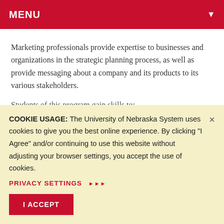MENU
Marketing professionals provide expertise to businesses and organizations in the strategic planning process, as well as provide messaging about a company and its products to its various stakeholders.
Students of this program gain skills to:
COOKIE USAGE: The University of Nebraska System uses cookies to give you the best online experience. By clicking "I Agree" and/or continuing to use this website without adjusting your browser settings, you accept the use of cookies.
PRIVACY SETTINGS ▶▶▶
I ACCEPT